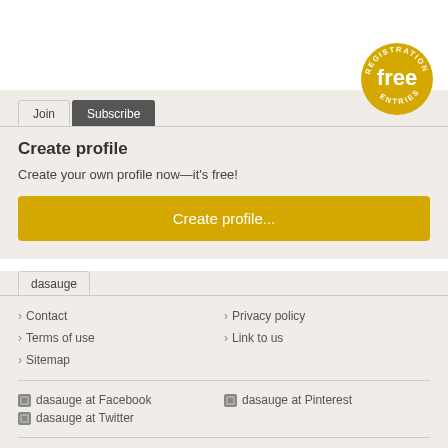Join | Subscribe
Create profile
Create your own profile now—it's free!
Create profile...
dasauge
› Contact
› Privacy policy
› Terms of use
› Link to us
› Sitemap
dasauge at Facebook
dasauge at Pinterest
dasauge at Twitter